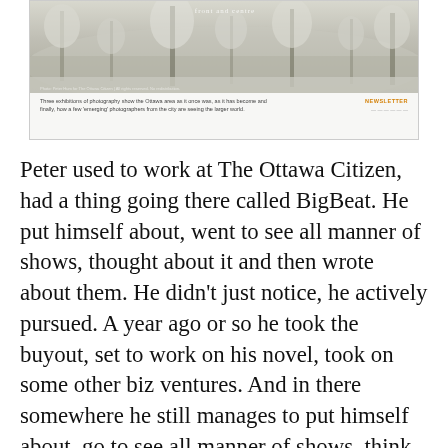[Figure (screenshot): Screenshot of a webpage showing a winter landscape photo with frost-covered trees, with a caption about three exhibitions of photography showing the Ottawa area, and a NEWSLETTER tag in orange.]
Peter used to work at The Ottawa Citizen, had a thing going there called BigBeat. He put himself about, went to see all manner of shows, thought about it and then wrote about them. He didn't just notice, he actively pursued. A year ago or so he took the buyout, set to work on his novel, took on some other biz ventures. And in there somewhere he still manages to put himself about, go to see all manner of shows, think about it and then write about them. All this with the regular paycheque of a